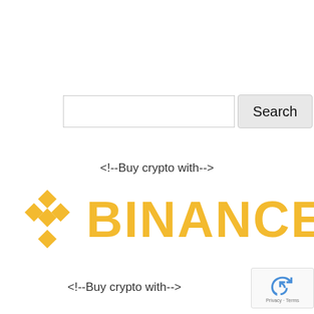[Figure (screenshot): Search input box (empty text field) next to a Search button with light grey background]
<!--Buy crypto with-->
[Figure (logo): Binance logo: golden/yellow diamond-shaped icon with inner diamond cutout, followed by bold yellow text BINANCE]
<!--Buy crypto with-->
[Figure (other): reCAPTCHA badge in bottom right corner showing blue/grey circular arrow icon with 'Privacy - Terms' text below]